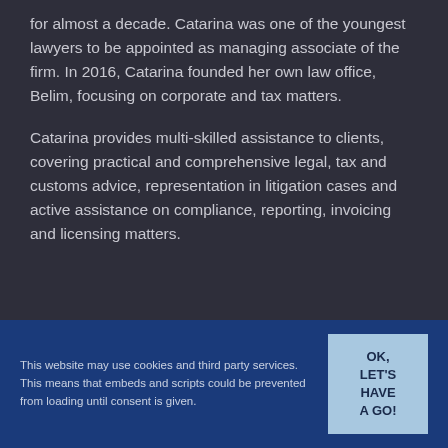for almost a decade. Catarina was one of the youngest lawyers to be appointed as managing associate of the firm. In 2016, Catarina founded her own law office, Belim, focusing on corporate and tax matters.
Catarina provides multi-skilled assistance to clients, covering practical and comprehensive legal, tax and customs advice, representation in litigation cases and active assistance on compliance, reporting, invoicing and licensing matters.
This website may use cookies and third party services. This means that embeds and scripts could be prevented from loading until consent is given.
OK, LET'S HAVE A GO!